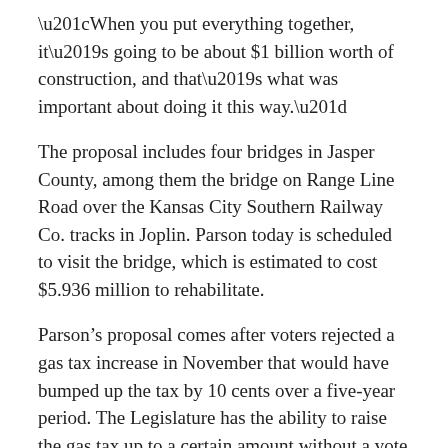“When you put everything together, it’s going to be about $1 billion worth of construction, and that’s what was important about doing it this way.”
The proposal includes four bridges in Jasper County, among them the bridge on Range Line Road over the Kansas City Southern Railway Co. tracks in Joplin. Parson today is scheduled to visit the bridge, which is estimated to cost $5.936 million to rehabilitate.
Parson’s proposal comes after voters rejected a gas tax increase in November that would have bumped up the tax by 10 cents over a five-year period. The Legislature has the ability to raise the gas tax up to a certain amount without a vote of the people, but Parson said he doesn’t see that happening this session.
“For the most part, Missourians are not very willing to increase taxes, and that’s just the way it is,”